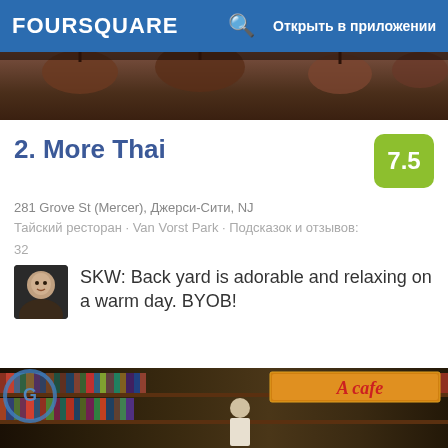FOURSQUARE   Открыть в приложении
[Figure (photo): Top photo strip showing dark interior with hanging objects, partial restaurant scene]
2. More Thai
7.5
281 Grove St (Mercer), Джерси-Сити, NJ
Тайский ресторан · Van Vorst Park · Подсказок и отзывов: 32
SKW: Back yard is adorable and relaxing on a warm day. BYOB!
[Figure (photo): Bookstore interior with shelves full of colorful books and an 'A cafe' neon sign on the right side. A person in a white shirt is visible in the center.]